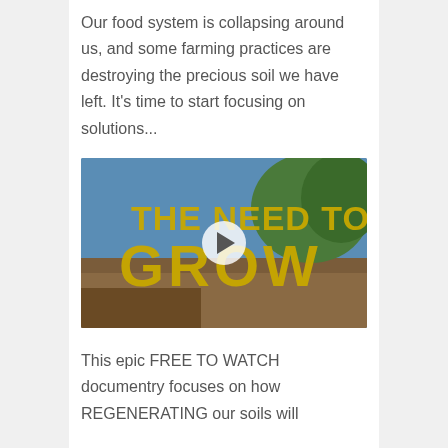Our food system is collapsing around us, and some farming practices are destroying the precious soil we have left. It's time to start focusing on solutions...
[Figure (screenshot): Video thumbnail for 'The Need to Grow' documentary showing large yellow grunge-style text over a garden/farm outdoor scene with blue sky and trees, with a play button overlay.]
This epic FREE TO WATCH documentry focuses on how REGENERATING our soils will